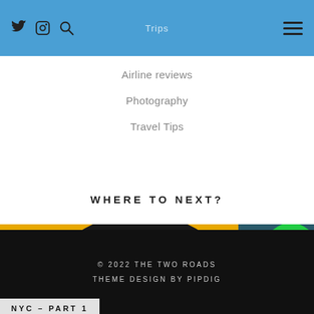Trips | Airline reviews | Photography | Travel Tips
WHERE TO NEXT?
[Figure (photo): Street mural on yellow background showing a colorful painted face with text reading 'with a perfect NEW YORK ACCENT. FUMEROiSM' and a green lamp post element on the right]
NYC – PART 1
© 2022 THE TWO ROADS
THEME DESIGN BY pipdig